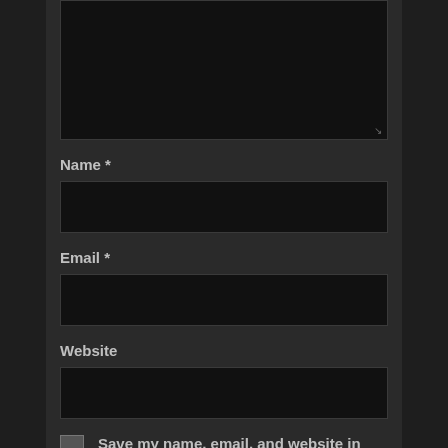[Figure (screenshot): Dark-themed comment form showing a textarea at top with resize handle, followed by Name*, Email*, and Website input fields, a checkbox for saving browser info, and a POST COMMENT button at the bottom.]
Name *
Email *
Website
Save my name, email, and website in this browser for the next time I comment.
POST COMMENT